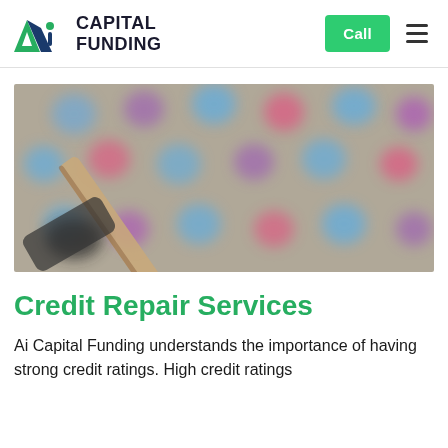[Figure (logo): Ai Capital Funding logo with green/blue triangular icon and bold text]
Call
[Figure (photo): Blurred close-up photo of a game board with colorful circles and a wooden piece/pencil on top]
Credit Repair Services
Ai Capital Funding understands the importance of having strong credit ratings. High credit ratings